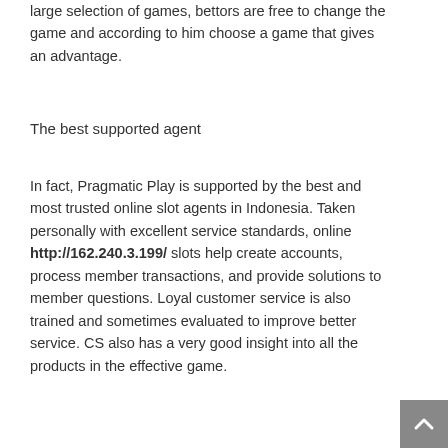large selection of games, bettors are free to change the game and according to him choose a game that gives an advantage.
The best supported agent
In fact, Pragmatic Play is supported by the best and most trusted online slot agents in Indonesia. Taken personally with excellent service standards, online http://162.240.3.199/ slots help create accounts, process member transactions, and provide solutions to member questions. Loyal customer service is also trained and sometimes evaluated to improve better service. CS also has a very good insight into all the products in the effective game.